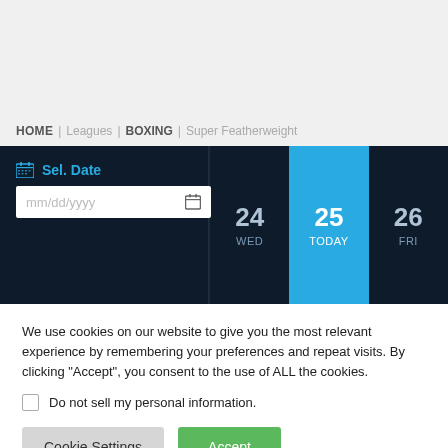HOME | Leagues | BOXING | Super Featherweight
[Figure (screenshot): Dark navy navigation bar with a date selector showing 'Sel. Date' with a calendar icon and mm/dd/yyyy input on the left, and date columns showing 24 WED, 25 TODAY (highlighted in blue), 26 FRI on the right]
We use cookies on our website to give you the most relevant experience by remembering your preferences and repeat visits. By clicking “Accept”, you consent to the use of ALL the cookies.
Do not sell my personal information.
Cookie Settings
Accept